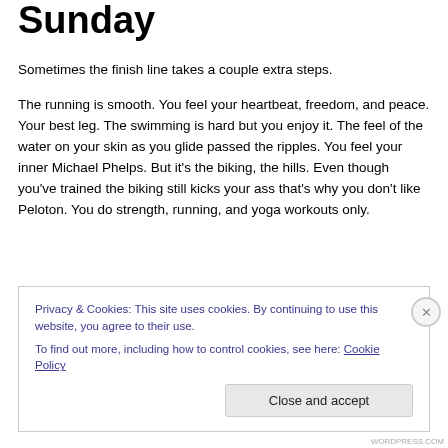Sunday
Sometimes the finish line takes a couple extra steps.
The running is smooth. You feel your heartbeat, freedom, and peace. Your best leg. The swimming is hard but you enjoy it. The feel of the water on your skin as you glide passed the ripples. You feel your inner Michael Phelps. But it’s the biking, the hills. Even though you’ve trained the biking still kicks your ass that’s why you don’t like Peloton. You do strength, running, and yoga workouts only.
Privacy & Cookies: This site uses cookies. By continuing to use this website, you agree to their use. To find out more, including how to control cookies, see here: Cookie Policy
WORDPRESS.COM